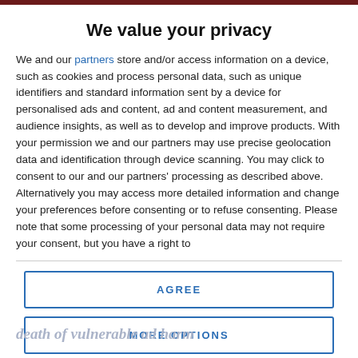We value your privacy
We and our partners store and/or access information on a device, such as cookies and process personal data, such as unique identifiers and standard information sent by a device for personalised ads and content, ad and content measurement, and audience insights, as well as to develop and improve products. With your permission we and our partners may use precise geolocation data and identification through device scanning. You may click to consent to our and our partners' processing as described above. Alternatively you may access more detailed information and change your preferences before consenting or to refuse consenting. Please note that some processing of your personal data may not require your consent, but you have a right to
AGREE
MORE OPTIONS
death of vulnerable ad harm